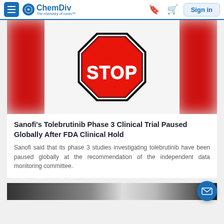ChemDiv — The chemistry of cures™ — Sign in
[Figure (illustration): A red STOP sign centered on a white background with blurred red panels on the left and right sides]
Sanofi's Tolebrutinib Phase 3 Clinical Trial Paused Globally After FDA Clinical Hold
Sanofi said that its phase 3 studies investigating tolebrutinib have been paused globally at the recommendation of the independent data monitoring committee.